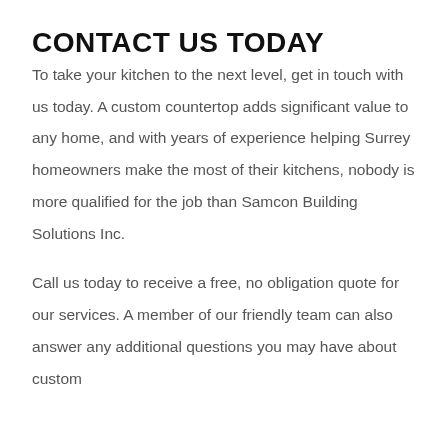CONTACT US TODAY
To take your kitchen to the next level, get in touch with us today. A custom countertop adds significant value to any home, and with years of experience helping Surrey homeowners make the most of their kitchens, nobody is more qualified for the job than Samcon Building Solutions Inc.
Call us today to receive a free, no obligation quote for our services. A member of our friendly team can also answer any additional questions you may have about custom